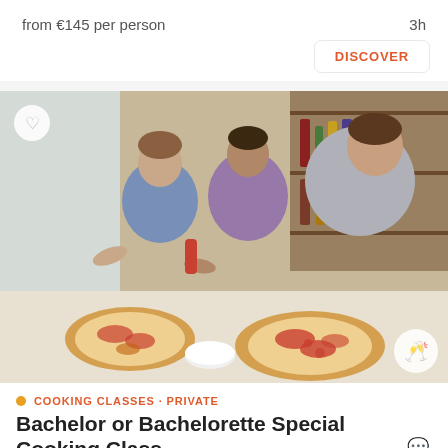from €145 per person
3h
DISCOVER
[Figure (photo): Three men leaning over a kitchen counter making pizzas together. They are preparing pizza dough with toppings in a bright kitchen with shelves of bottles and jars in the background.]
COOKING CLASSES · PRIVATE
Bachelor or Bachelorette Special Cooking Class